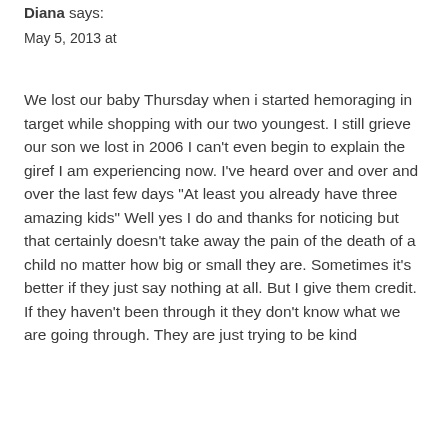Diana says:
May 5, 2013 at
We lost our baby Thursday when i started hemoraging in target while shopping with our two youngest. I still grieve our son we lost in 2006 I can't even begin to explain the giref I am experiencing now. I've heard over and over and over the last few days “At least you already have three amazing kids” Well yes I do and thanks for noticing but that certainly doesn’t take away the pain of the death of a child no matter how big or small they are. Sometimes it’s better if they just say nothing at all. But I give them credit. If they haven’t been through it they don’t know what we are going through. They are just trying to be kind